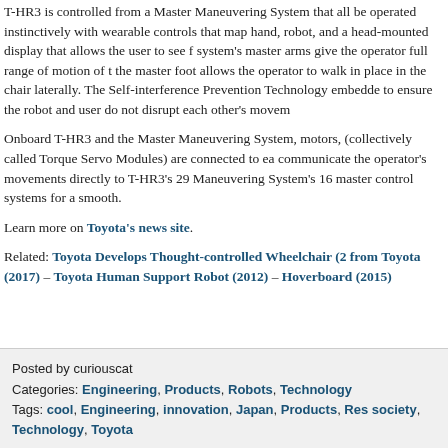T-HR3 is controlled from a Master Maneuvering System that allows it to be operated instinctively with wearable controls that map hand, arm, and robot, and a head-mounted display that allows the user to see from the system's master arms give the operator full range of motion of the robot. the master foot allows the operator to walk in place in the chair laterally. The Self-interference Prevention Technology embedded to ensure the robot and user do not disrupt each other's movements.
Onboard T-HR3 and the Master Maneuvering System, motors, (collectively called Torque Servo Modules) are connected to each other to communicate the operator's movements directly to T-HR3's 29 Maneuvering System's 16 master control systems for a smooth.
Learn more on Toyota's news site.
Related: Toyota Develops Thought-controlled Wheelchair (2 from Toyota (2017) – Toyota Human Support Robot (2012) – Hoverboard (2015)
Posted by curiouscat
Categories: Engineering, Products, Robots, Technology
Tags: cool, Engineering, innovation, Japan, Products, Research, society, Technology, Toyota